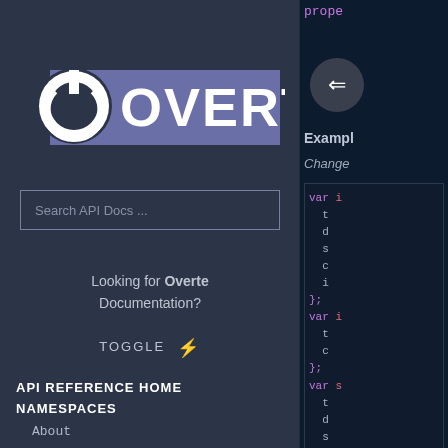[Figure (logo): Overte logo with power icon and blue bar]
Search API Docs ...
Looking for Overte Documentation?
TOGGLE
API REFERENCE HOME
NAMESPACES
About
Account
AccountServices
AddressManager
prope
Example
Change
var i
  t
  d
  s
  c
  i
};
var i
  t
  c
};
var s
  t
  d
  s
  c
  i